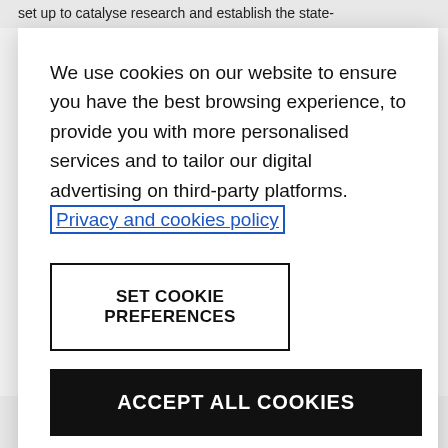set up to catalyse research and establish the state-
We use cookies on our website to ensure you have the best browsing experience, to provide you with more personalised services and to tailor our digital advertising on third-party platforms. Privacy and cookies policy
SET COOKIE PREFERENCES
ACCEPT ALL COOKIES
3a, NSP2, NSP4, NSP6 (NSP stands for non-structural protein), and Papain-like proteinase (C terminal